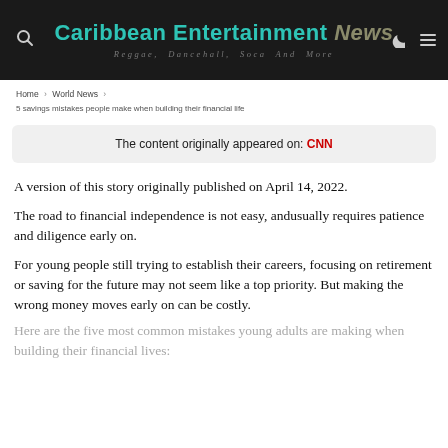Caribbean Entertainment News — Reggae, Dancehall, Soca And More
Home › World News › 5 savings mistakes people make when building their financial life
The content originally appeared on: CNN
A version of this story originally published on April 14, 2022.
The road to financial independence is not easy, andusually requires patience and diligence early on.
For young people still trying to establish their careers, focusing on retirement or saving for the future may not seem like a top priority. But making the wrong money moves early on can be costly.
Here are the five most common mistakes young adults are making when building their financial lives: